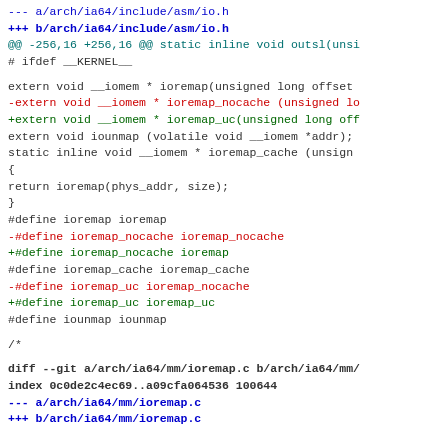--- a/arch/ia64/include/asm/io.h
+++ b/arch/ia64/include/asm/io.h
@@ -256,16 +256,16 @@ static inline void outsl(unsi
# ifdef __KERNEL__
extern void __iomem * ioremap(unsigned long offset
-extern void __iomem * ioremap_nocache (unsigned lo
+extern void __iomem * ioremap_uc(unsigned long off
extern void iounmap (volatile void __iomem *addr);
static inline void __iomem * ioremap_cache (unsign
{
return ioremap(phys_addr, size);
}
#define ioremap ioremap
-#define ioremap_nocache ioremap_nocache
+#define ioremap_nocache ioremap
#define ioremap_cache ioremap_cache
-#define ioremap_uc ioremap_nocache
+#define ioremap_uc ioremap_uc
#define iounmap iounmap
/*
diff --git a/arch/ia64/mm/ioremap.c b/arch/ia64/mm/
index 0c0de2c4ec69..a09cfa064536 100644
--- a/arch/ia64/mm/ioremap.c
+++ b/arch/ia64/mm/ioremap.c